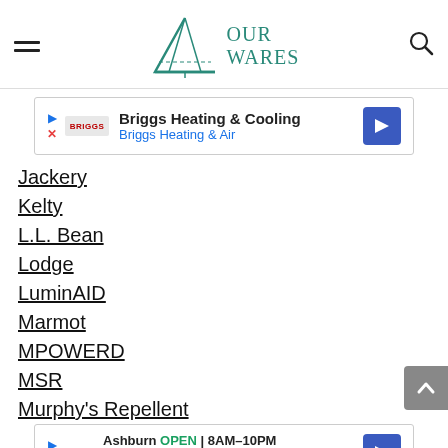Our Wares — navigation header with hamburger menu and search icon
[Figure (screenshot): Briggs Heating & Cooling advertisement banner with logo and navigation arrow]
Jackery
Kelty
L.L. Bean
Lodge
LuminAID
Marmot
MPOWERD
MSR
Murphy's Repellent
[Figure (screenshot): Walgreens advertisement: Ashburn OPEN 8AM-10PM, 20321 Susan Leslie Dr, Ashburn. Satisfaction guaranteed.]